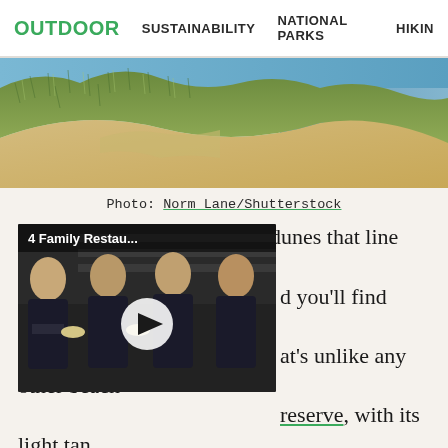OUTDOOR   SUSTAINABILITY   NATIONAL PARKS   HIKING
[Figure (photo): Aerial/ground view of tall grassy sand dunes lining highway A1A with sandy beach and blue ocean water visible in the background]
Photo: Norm Lane/Shutterstock
[Figure (screenshot): Video overlay thumbnail showing four women in dark uniforms holding dishes, with label '4 Family Restau...' and a white play button circle]
Peek over the tall, grassy dunes that line A1A just [south,] and you'll find yourself on a [beach th]at's unlike any other beach [in this r]eserve, with its light tan [sand and p]lant-covered dunes, looks more like the coast of Zanzibar or some other far-flung beach. It's rarely crowded with much more than people looking for shark teeth, adding to the isolated allure. The beach has an interesting history